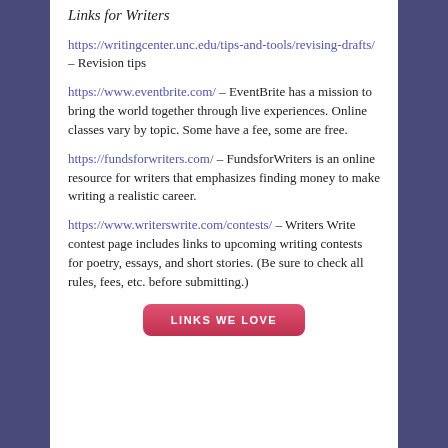Links for Writers
https://writingcenter.unc.edu/tips-and-tools/revising-drafts/ – Revision tips
https://www.eventbrite.com/ – EventBrite has a mission to bring the world together through live experiences. Online classes vary by topic. Some have a fee, some are free.
https://fundsforwriters.com/ – FundsforWriters is an online resource for writers that emphasizes finding money to make writing a realistic career.
https://www.writerswrite.com/contests/ – Writers Write contest page includes links to upcoming writing contests for poetry, essays, and short stories. (Be sure to check all rules, fees, etc. before submitting.)
[Figure (other): Red rounded button labeled LINKS WE LOVE]